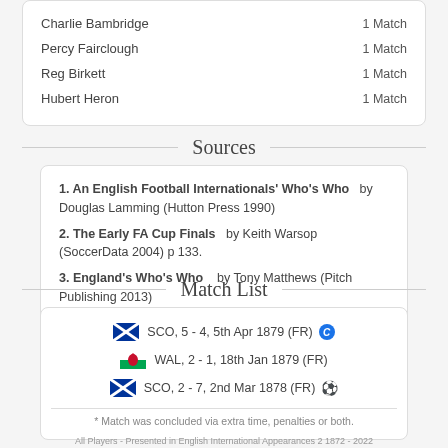Charlie Bambridge — 1 Match
Percy Fairclough — 1 Match
Reg Birkett — 1 Match
Hubert Heron — 1 Match
Sources
1. An English Football Internationals' Who's Who by Douglas Lamming (Hutton Press 1990)
2. The Early FA Cup Finals by Keith Warsop (SoccerData 2004) p 133.
3. England's Who's Who by Tony Matthews (Pitch Publishing 2013)
Match List
SCO, 5 - 4, 5th Apr 1879 (FR)
WAL, 2 - 1, 18th Jan 1879 (FR)
SCO, 2 - 7, 2nd Mar 1878 (FR)
* Match was concluded via extra time, penalties or both.
All Players - Presented in English International Appearances 2 1872 - 2022